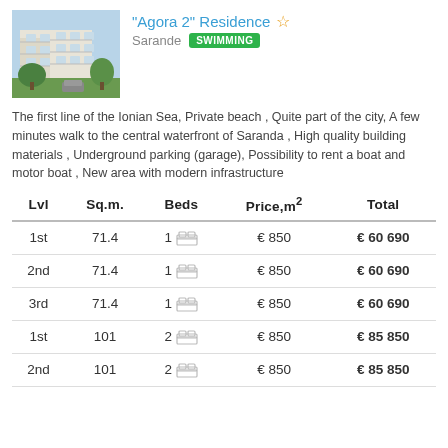[Figure (photo): Photo of Agora 2 Residence building - a white multi-story apartment building with balconies and surrounding greenery]
"Agora 2" Residence
Sarande  SWIMMING
The first line of the Ionian Sea, Private beach , Quite part of the city, A few minutes walk to the central waterfront of Saranda , High quality building materials , Underground parking (garage), Possibility to rent a boat and motor boat , New area with modern infrastructure
| Lvl | Sq.m. | Beds | Price,m² | Total |
| --- | --- | --- | --- | --- |
| 1st | 71.4 | 1 | € 850 | € 60 690 |
| 2nd | 71.4 | 1 | € 850 | € 60 690 |
| 3rd | 71.4 | 1 | € 850 | € 60 690 |
| 1st | 101 | 2 | € 850 | € 85 850 |
| 2nd | 101 | 2 | € 850 | € 85 850 |